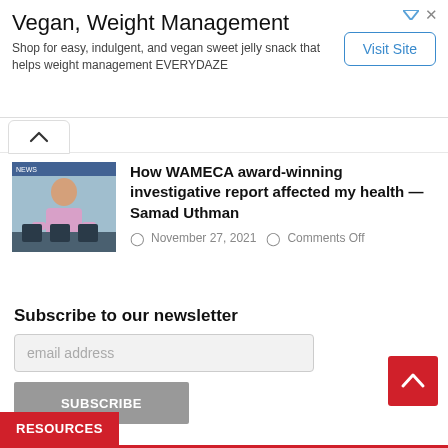[Figure (infographic): Advertisement banner: Vegan, Weight Management. Shop for easy, indulgent, and vegan sweet jelly snack that helps weight management EVERYDAZE. Visit Site button.]
[Figure (photo): Small thumbnail photo of a man in a pink shirt standing in what appears to be an office or conference room.]
How WAMECA award-winning investigative report affected my health — Samad Uthman
November 27, 2021   Comments Off
Subscribe to our newsletter
email address
SUBSCRIBE
RESOURCES